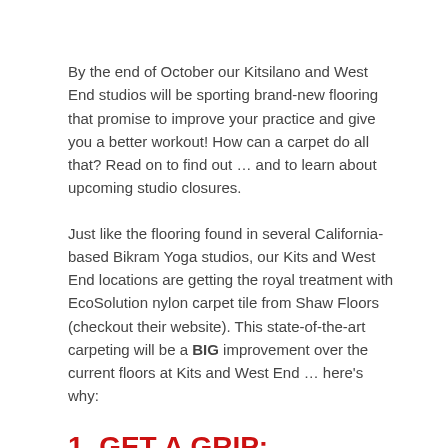By the end of October our Kitsilano and West End studios will be sporting brand-new flooring that promise to improve your practice and give you a better workout! How can a carpet do all that? Read on to find out … and to learn about upcoming studio closures.
Just like the flooring found in several California-based Bikram Yoga studios, our Kits and West End locations are getting the royal treatment with EcoSolution nylon carpet tile from Shaw Floors (checkout their website). This state-of-the-art carpeting will be a BIG improvement over the current floors at Kits and West End … here's why:
1. GET A GRIP: